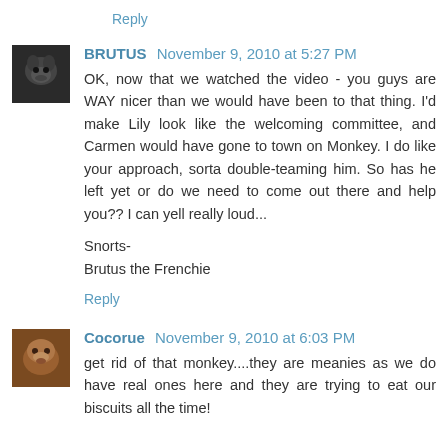Reply
BRUTUS November 9, 2010 at 5:27 PM
OK, now that we watched the video - you guys are WAY nicer than we would have been to that thing. I'd make Lily look like the welcoming committee, and Carmen would have gone to town on Monkey. I do like your approach, sorta double-teaming him. So has he left yet or do we need to come out there and help you?? I can yell really loud...

Snorts-
Brutus the Frenchie
Reply
Cocorue November 9, 2010 at 6:03 PM
get rid of that monkey....they are meanies as we do have real ones here and they are trying to eat our biscuits all the time!